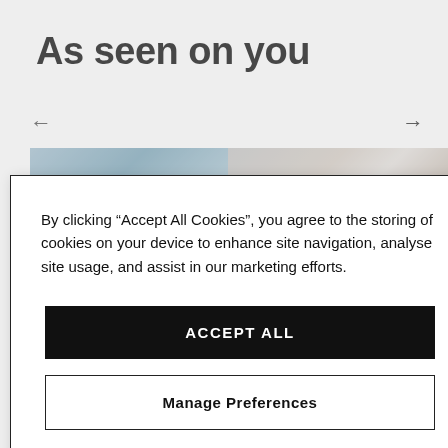As seen on you
[Figure (screenshot): Website carousel section showing left and right navigation arrows and partial product/lifestyle images in the background behind a cookie consent dialog.]
By clicking “Accept All Cookies”, you agree to the storing of cookies on your device to enhance site navigation, analyse site usage, and assist in our marketing efforts.
ACCEPT ALL
Manage Preferences